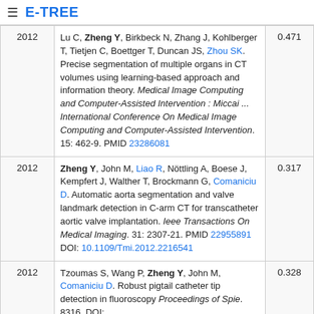E-TREE
| Year | Reference | Score |
| --- | --- | --- |
| 2012 | Lu C, Zheng Y, Birkbeck N, Zhang J, Kohlberger T, Tietjen C, Boettger T, Duncan JS, Zhou SK. Precise segmentation of multiple organs in CT volumes using learning-based approach and information theory. Medical Image Computing and Computer-Assisted Intervention : Miccai ... International Conference On Medical Image Computing and Computer-Assisted Intervention. 15: 462-9. PMID 23286081 | 0.471 |
| 2012 | Zheng Y, John M, Liao R, Nöttling A, Boese J, Kempfert J, Walther T, Brockmann G, Comaniciu D. Automatic aorta segmentation and valve landmark detection in C-arm CT for transcatheter aortic valve implantation. Ieee Transactions On Medical Imaging. 31: 2307-21. PMID 22955891 DOI: 10.1109/Tmi.2012.2216541 | 0.317 |
| 2012 | Tzoumas S, Wang P, Zheng Y, John M, Comaniciu D. Robust pigtail catheter tip detection in fluoroscopy Proceedings of Spie. 8316. DOI: | 0.328 |